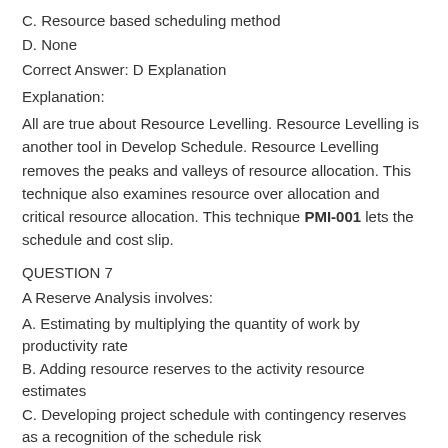C. Resource based scheduling method
D. None
Correct Answer: D Explanation
Explanation:
All are true about Resource Levelling. Resource Levelling is another tool in Develop Schedule. Resource Levelling removes the peaks and valleys of resource allocation. This technique also examines resource over allocation and critical resource allocation. This technique PMI-001 lets the schedule and cost slip.
QUESTION 7
A Reserve Analysis involves:
A. Estimating by multiplying the quantity of work by productivity rate
B. Adding resource reserves to the activity resource estimates
C. Developing project schedule with contingency reserves as a recognition of the schedule risk
D. Incorporating time buffers into the activity duration estimates
Correct Answer: D Explanation
Explanation:
Reserve Analysis ( Contingency ): Project teams may choose to incorporate an additional time frame, called time reserve, contingency or buffer, that can be added to the PMI-001 vce activity duration or